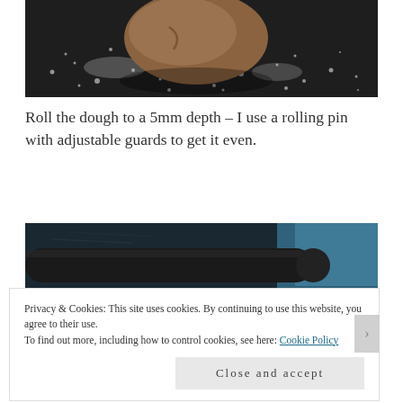[Figure (photo): Bread dough ball on a dark surface dusted with flour, viewed from above]
Roll the dough to a 5mm depth – I use a rolling pin with adjustable guards to get it even.
[Figure (photo): Rolling pin on a dark surface with flour, with a blue tray in the background]
Privacy & Cookies: This site uses cookies. By continuing to use this website, you agree to their use.
To find out more, including how to control cookies, see here: Cookie Policy
Close and accept